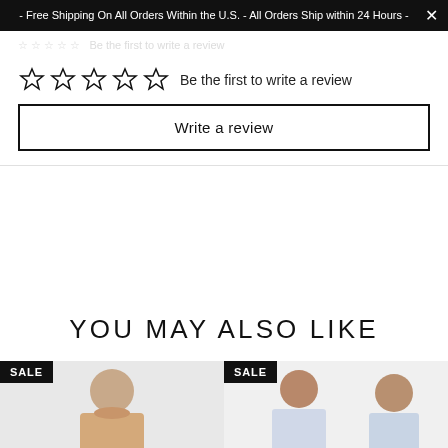- Free Shipping On All Orders Within the U.S. - All Orders Ship within 24 Hours -
Be the first to write a review
Write a review
YOU MAY ALSO LIKE
[Figure (photo): Two product cards each labeled SALE showing apparel items on models]
SALE
SALE